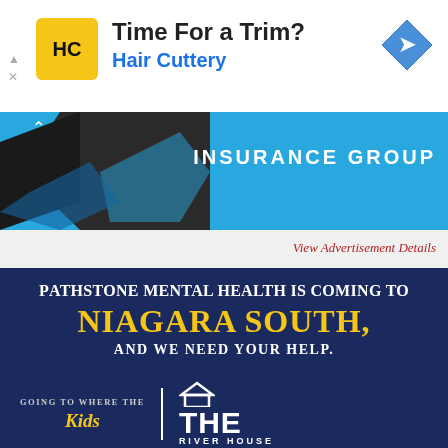[Figure (infographic): Hair Cuttery advertisement banner with yellow HC logo, text 'Time For a Trim?' and 'Hair Cuttery' in blue, and a blue diamond navigation icon on the right.]
[Figure (infographic): Insurance Group banner with blue background, dark abstract logo shape on left, and 'INSURANCE GROUP' text in white on the right.]
View Advertisement Details
[Figure (infographic): Pathstone Mental Health advertisement on dark navy background. Text reads: 'PATHSTONE MENTAL HEALTH IS COMING TO NIAGARA SOUTH, AND WE NEED YOUR HELP.' followed by a gold bar with text 'SUPPORT THE RIVER HOUSE RENO CAPITAL CAMPAIGN TODAY, AND YOUR GIFT WILL BE MATCHED $1 FOR $1 BY MOUNTAINVIEW BUILDING GROUP.']
[Figure (infographic): Bottom section of Pathstone ad with 'GOING TO WHERE THE Kids' text and The River House logo on dark navy background.]